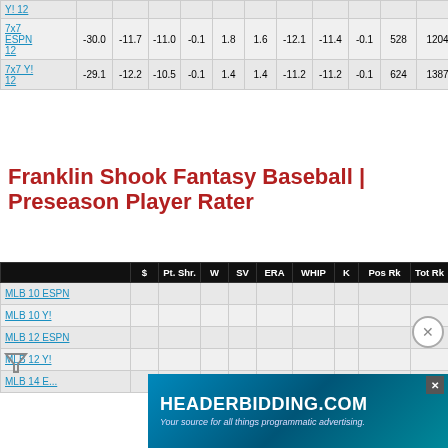|  | $ | Pt. Shr. | W | SV | ERA | WHIP | K | Pos Rk | Tot Rk |
| --- | --- | --- | --- | --- | --- | --- | --- | --- | --- |
| Y! 12 |  |  |  |  |  |  |  |  |  |
| 7x7 ESPN 12 | -30.0 | -11.7 | -11.0 | -0.1 | 1.8 | 1.6 | -12.1 | -11.4 | -0.1 | 528 | 1204 |
| 7x7 Y! 12 | -29.1 | -12.2 | -10.5 | -0.1 | 1.4 | 1.4 | -11.2 | -11.2 | -0.1 | 624 | 1387 |
Franklin Shook Fantasy Baseball | Preseason Player Rater
|  | $ | Pt. Shr. | W | SV | ERA | WHIP | K | Pos Rk | Tot Rk |
| --- | --- | --- | --- | --- | --- | --- | --- | --- | --- |
| MLB 10 ESPN |  |  |  |  |  |  |  |  |  |
| MLB 10 Y! |  |  |  |  |  |  |  |  |  |
| MLB 12 ESPN |  |  |  |  |  |  |  |  |  |
| MLB 12 Y! |  |  |  |  |  |  |  |  |  |
| MLB 14 E... |  |  |  |  |  |  |  |  |  |